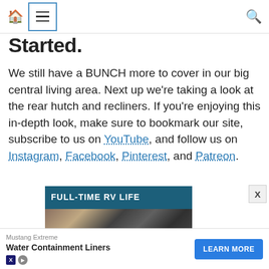Navigation bar with home icon, menu icon, and search icon
Started.
We still have a BUNCH more to cover in our big central living area. Next up we're taking a look at the rear hutch and recliners. If you're enjoying this in-depth look, make sure to bookmark our site, subscribe to us on YouTube, and follow us on Instagram, Facebook, Pinterest, and Patreon.
[Figure (photo): Full-Time RV Life banner image showing 'IN-DEPTH' text overlaid on a kitchen photo, with partial text below]
Mustang Extreme Water Containment Liners LEARN MORE